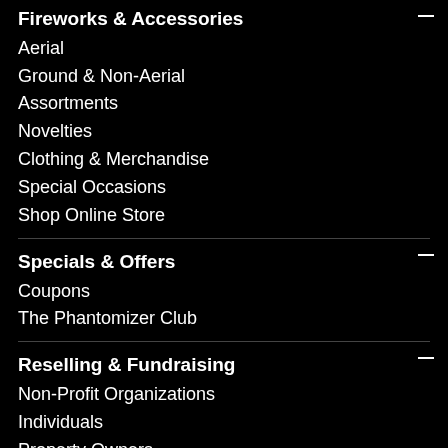Fireworks & Accessories
Aerial
Ground & Non-Aerial
Assortments
Novelties
Clothing & Merchandise
Special Occasions
Shop Online Store
Specials & Offers
Coupons
The Phantomizer Club
Reselling & Fundraising
Non-Profit Organizations
Individuals
Property Owners
cation & Safety
Fireworks University